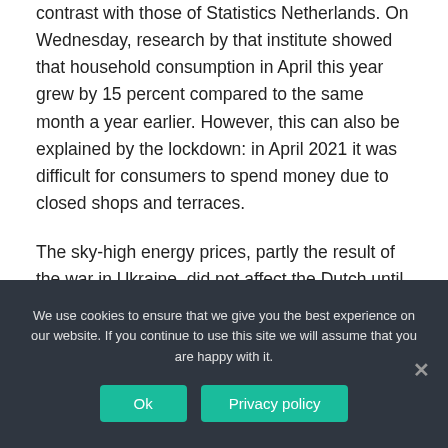contrast with those of Statistics Netherlands. On Wednesday, research by that institute showed that household consumption in April this year grew by 15 percent compared to the same month a year earlier. However, this can also be explained by the lockdown: in April 2021 it was difficult for consumers to spend money due to closed shops and terraces.
The sky-high energy prices, partly the result of the war in Ukraine, did not affect the Dutch until April, according to Van Garderen, but that will
We use cookies to ensure that we give you the best experience on our website. If you continue to use this site we will assume that you are happy with it.